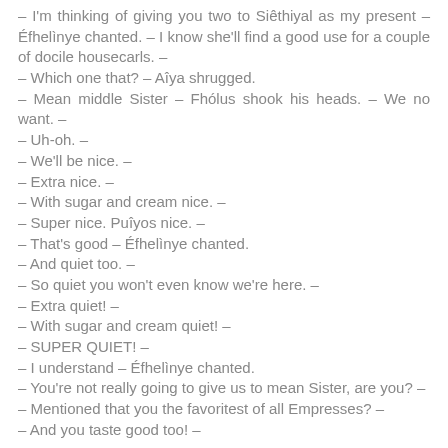– I'm thinking of giving you two to Siêthiyal as my present – Éfhelìnye chanted. – I know she'll find a good use for a couple of docile housecarls. –
– Which one that? – Aîya shrugged.
– Mean middle Sister – Fhólus shook his heads. – We no want. –
– Uh-oh. –
– We'll be nice. –
– Extra nice. –
– With sugar and cream nice. –
– Super nice. Puîyos nice. –
– That's good – Éfhelìnye chanted.
– And quiet too. –
– So quiet you won't even know we're here. –
– Extra quiet! –
– With sugar and cream quiet! –
– SUPER QUIET! –
– I understand – Éfhelìnye chanted.
– You're not really going to give us to mean Sister, are you? –
– Mentioned that you the favoritest of all Empresses? –
– And you taste good too! –